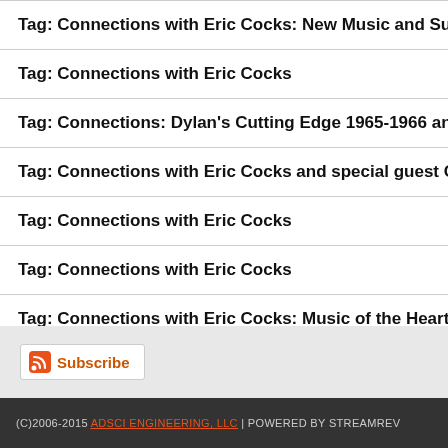Tag: Connections with Eric Cocks: New Music and Sur…
Tag: Connections with Eric Cocks
Tag: Connections: Dylan's Cutting Edge 1965-1966 and…
Tag: Connections with Eric Cocks and special guest Ch…
Tag: Connections with Eric Cocks
Tag: Connections with Eric Cocks
Tag: Connections with Eric Cocks: Music of the Heart
Tag: Connections with Eric Cocks
Tag: Connections with Eric Cocks: Beatles, Dylan, Nils…
Tag: Connections with Eric Cocks
Subscribe
(C)2006-2015 ADSCI ENGINEERING, LLC | POWERED BY STREAMREV…